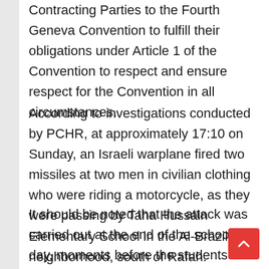Contracting Parties to the Fourth Geneva Convention to fulfill their obligations under Article 1 of the Convention to respect and ensure respect for the Convention in all circumstances.
According to investigations conducted by PCHR, at approximately 17:10 on Sunday, an Israeli warplane fired two missiles at two men in civilian clothing who were riding a motorcycle, as they were passing by Taha Hussain Elementary School in the Al-Brazil neighborhood, south of Rafah.
It should be noted that the attack was carried out at the end of the school day, moments before the students began to leave the school.